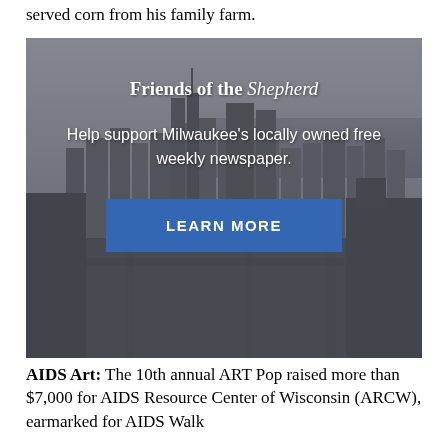served corn from his family farm.
[Figure (infographic): Friends of the Shepherd advertisement banner. Black and white aerial photo of Milwaukee city skyline with overlay text: 'Friends of the Shepherd — Help support Milwaukee's locally owned free weekly newspaper.' and a blue 'LEARN MORE' button.]
AIDS Art: The 10th annual ART Pop raised more than $7,000 for AIDS Resource Center of Wisconsin (ARCW), earmarked for AIDS Walk